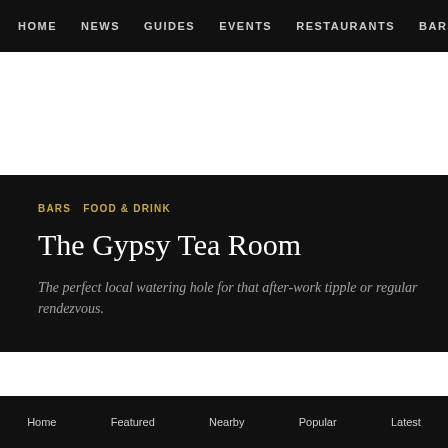HOME  NEWS  GUIDES  EVENTS  RESTAURANTS  BARS
BARS  FOOD & DRINK
The Gypsy Tea Room
The perfect local watering hole for that after-work tipple or regular rendezvous.
Home  Featured  Nearby  Popular  Latest